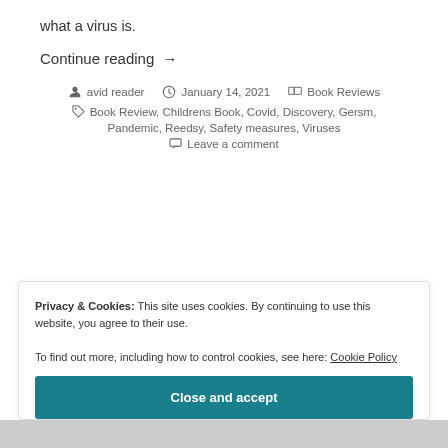what a virus is.
Continue reading →
avid reader  January 14, 2021  Book Reviews
Book Review, Childrens Book, Covid, Discovery, Gersm, Pandemic, Reedsy, Safety measures, Viruses
Leave a comment
Privacy & Cookies: This site uses cookies. By continuing to use this website, you agree to their use.
To find out more, including how to control cookies, see here: Cookie Policy
Close and accept